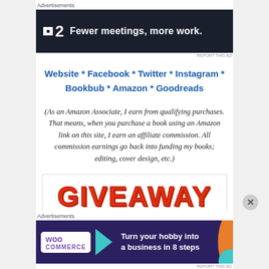Advertisements
[Figure (screenshot): Top advertisement banner: dark navy background with a white box logo showing a small icon, bold number '2', and white text 'Fewer meetings, more work.']
REPORT THIS AD
Website * Facebook * Twitter * Instagram * Bookbub * Amazon * Goodreads
(As an Amazon Associate, I earn from qualifying purchases. That means, when you purchase a book using an Amazon link on this site, I earn an affiliate commission. All commission earnings go back into funding my books; editing, cover design, etc.)
[Figure (other): GIVEAWAY text in large red bold letters inside a white bordered box]
Advertisements
[Figure (screenshot): Bottom advertisement banner: dark purple background with WooCommerce logo, teal arrow, text 'Turn your hobby into a business in 8 steps', orange and teal decorative shapes]